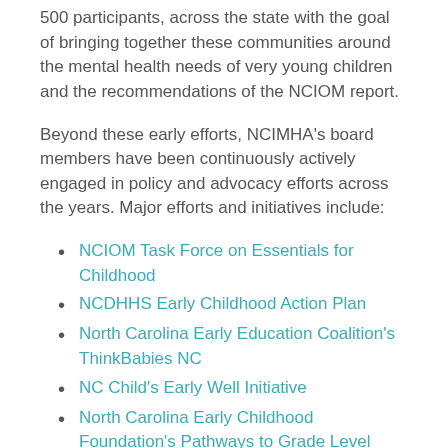500 participants, across the state with the goal of bringing together these communities around the mental health needs of very young children and the recommendations of the NCIOM report.
Beyond these early efforts, NCIMHA's board members have been continuously actively engaged in policy and advocacy efforts across the years. Major efforts and initiatives include:
NCIOM Task Force on Essentials for Childhood
NCDHHS Early Childhood Action Plan
North Carolina Early Education Coalition's ThinkBabies NC
NC Child's Early Well Initiative
North Carolina Early Childhood Foundation's Pathways to Grade Level Reading
Taking advantage of opportunities big and small to move their mission forward over the years, NCIMHA Board members have met with legislators about the